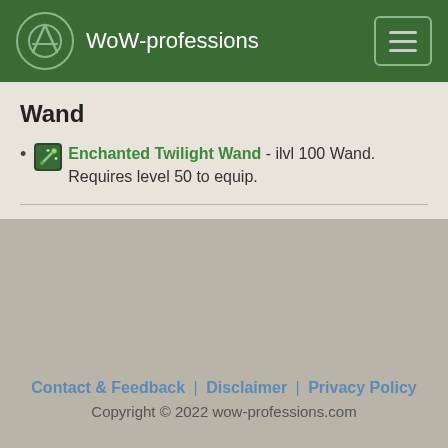WoW-professions
Wand
Enchanted Twilight Wand - ilvl 100 Wand. Requires level 50 to equip.
Contact & Feedback | Disclaimer | Privacy Policy
Copyright © 2022 wow-professions.com